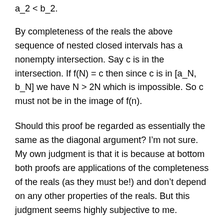a_2 < b_2.
By completeness of the reals the above sequence of nested closed intervals has a nonempty intersection. Say c is in the intersection. If f(N) = c then since c is in [a_N, b_N] we have N > 2N which is impossible. So c must not be in the image of f(n).
Should this proof be regarded as essentially the same as the diagonal argument? I’m not sure. My own judgment is that it is because at bottom both proofs are applications of the completeness of the reals (as they must be!) and don’t depend on any other properties of the reals. But this judgment seems highly subjective to me.
How about the usual approaches to the